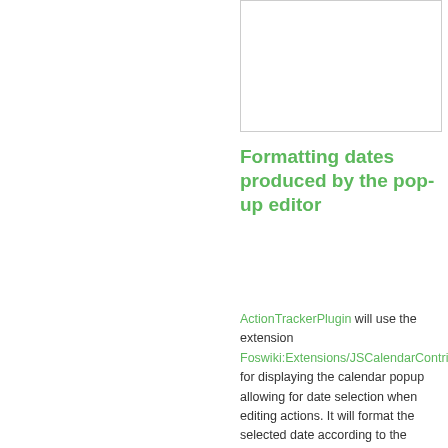[Figure (other): White box with border, partially visible at top right of page]
Formatting dates produced by the pop-up editor
ActionTrackerPlugin will use the extension Foswiki:Extensions/JSCalendarContrib for displaying the calendar popup allowing for date selection when editing actions. It will format the selected date according to the settings specified for JSCalendarContrib.
Refer to the JSCalendarContrib documentation to learn how to customize these settings system-wide, for a web or topic